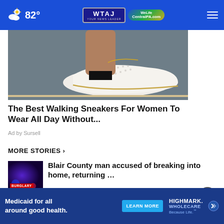82° WTAJ CentralPA.com
[Figure (photo): Close-up photo of a person's foot wearing a white perforated sneaker with gold detailing, stepping on pavement]
The Best Walking Sneakers For Women To Wear All Day Without...
Ad by Sursell
MORE STORIES ›
[Figure (photo): Thumbnail image with dark blue/purple background and red BURGLARY badge]
Blair County man accused of breaking into home, returning …
[Figure (photo): Thumbnail image with PennDOT green/blue background]
Bridge replacement to start in...
[Figure (infographic): Highmark advertisement banner: Medicaid for all around good health. LEARN MORE. HIGHMARK WHOLECARE Because Life.]